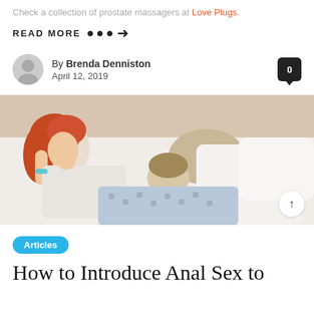Check a collection of prostate massagers at Love Plugs.
READ MORE ●●●➜
By Brenda Denniston
April 12, 2019
[Figure (photo): A couple on a bed; a woman with red hair lying down smiling, and a man nuzzling her lower back.]
Articles
How to Introduce Anal Sex to